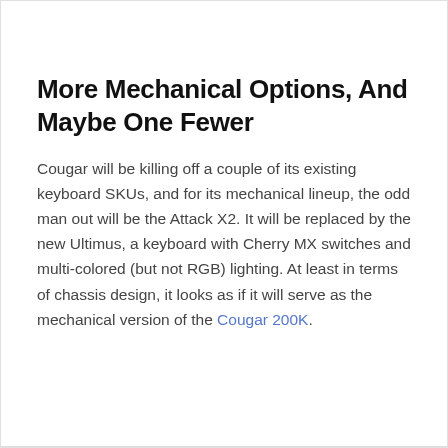More Mechanical Options, And Maybe One Fewer
Cougar will be killing off a couple of its existing keyboard SKUs, and for its mechanical lineup, the odd man out will be the Attack X2. It will be replaced by the new Ultimus, a keyboard with Cherry MX switches and multi-colored (but not RGB) lighting. At least in terms of chassis design, it looks as if it will serve as the mechanical version of the Cougar 200K.